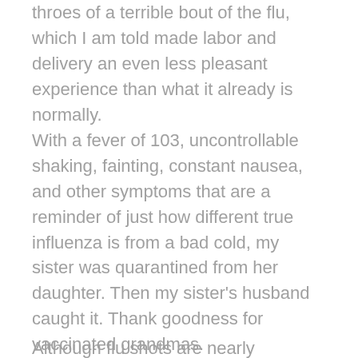throes of a terrible bout of the flu, which I am told made labor and delivery an even less pleasant experience than what it already is normally.
With a fever of 103, uncontrollable shaking, fainting, constant nausea, and other symptoms that are a reminder of just how different true influenza is from a bad cold, my sister was quarantined from her daughter. Then my sister's husband caught it. Thank goodness for vaccinated grandmas.
Although flu shots are nearly mandatory